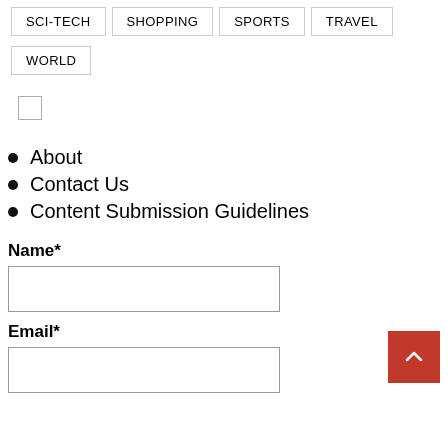SCI-TECH
SHOPPING
SPORTS
TRAVEL
WORLD
[Figure (other): Checkbox (unchecked)]
About
Contact Us
Content Submission Guidelines
Name*
Email*
[Figure (other): Back to top button, red square with upward chevron arrow]